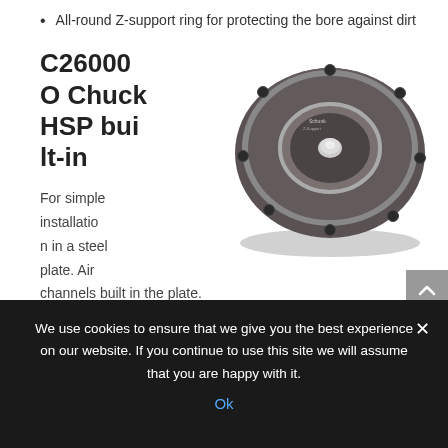All-round Z-support ring for protecting the bore against dirt
C26000 O Chuck HSP built-in
[Figure (photo): Circular industrial chuck component with dark grey body, concentric rings, central silver post, and multiple bolt holes around perimeter — the C26000 O Chuck HSP built-in product.]
For simple installation in a steel plate. Air channels built in the plate.
We use cookies to ensure that we give you the best experience on our website. If you continue to use this site we will assume that you are happy with it.
Ok